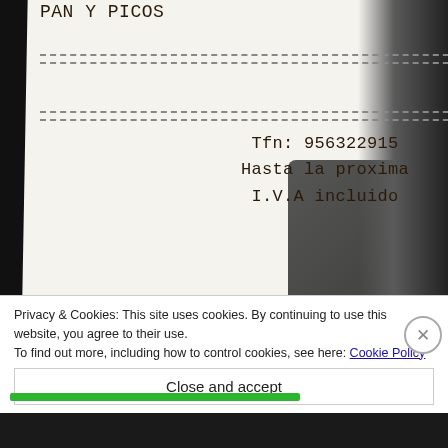[Figure (photo): A photo of a restaurant receipt showing items including PAN Y PICOS priced at 5.20 and 0.95, a total of 44.00, phone number Tfn: 956322915, farewell message 'Hasta la proxima', and 'I.V.A incluido'. The receipt is lying on a dark leather wallet/folder.]
Privacy & Cookies: This site uses cookies. By continuing to use this website, you agree to their use.
To find out more, including how to control cookies, see here: Cookie Policy
Close and accept